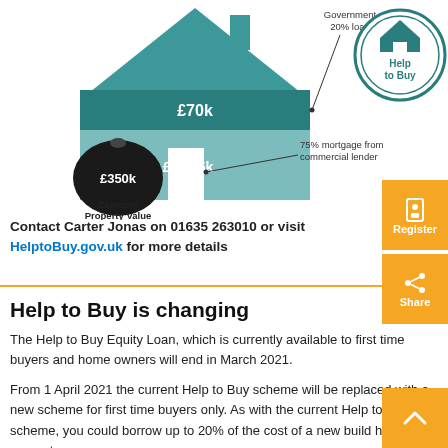[Figure (infographic): Help to Buy infographic showing a house diagram with labels: Government 20% loan (£70k), £256.5k mortgage section, £350k example property value money bag, 75% mortgage from commercial lender, and Help to Buy circular logo badge]
Contact Carter Jonas on 01635 263010 or visit HelptoBuy.gov.uk for more details
Help to Buy is changing
The Help to Buy Equity Loan, which is currently available to first time buyers and home owners will end in March 2021.
From 1 April 2021 the current Help to Buy scheme will be replaced with a new scheme for first time buyers only. As with the current Help to Buy scheme, you could borrow up to 20% of the cost of a new build home. The amount